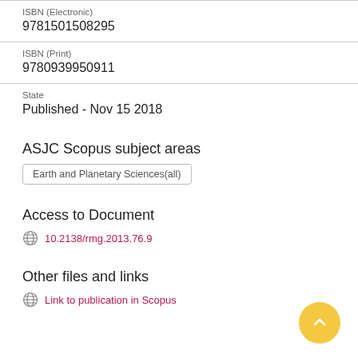ISBN (Electronic)
9781501508295
ISBN (Print)
9780939950911
State
Published - Nov 15 2018
ASJC Scopus subject areas
Earth and Planetary Sciences(all)
Access to Document
10.2138/rmg.2013.76.9
Other files and links
Link to publication in Scopus